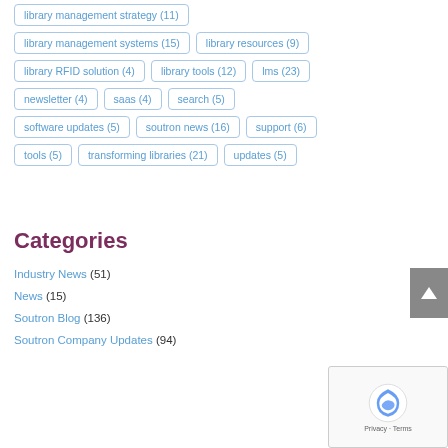library management strategy (11)
library management systems (15)
library resources (9)
library RFID solution (4)
library tools (12)
lms (23)
newsletter (4)
saas (4)
search (5)
software updates (5)
soutron news (16)
support (6)
tools (5)
transforming libraries (21)
updates (5)
Categories
Industry News (51)
News (15)
Soutron Blog (136)
Soutron Company Updates (94)